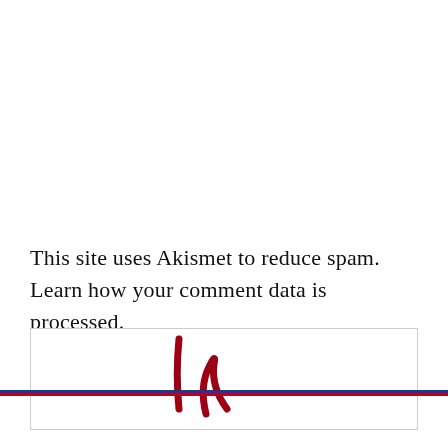This site uses Akismet to reduce spam. Learn how your comment data is processed.
[Figure (illustration): Partial view of a handwritten red cursive signature/script, partially cut off at bottom of visible area]